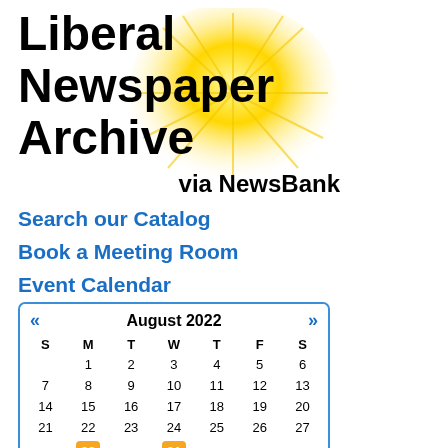[Figure (logo): Liberal Newspaper Archive via NewsBank logo with sunburst/sunflower graphic in yellow and gold]
Search our Catalog
Book a Meeting Room
Event Calendar
| S | M | T | W | T | F | S |
| --- | --- | --- | --- | --- | --- | --- |
|  | 1 | 2 | 3 | 4 | 5 | 6 |
| 7 | 8 | 9 | 10 | 11 | 12 | 13 |
| 14 | 15 | 16 | 17 | 18 | 19 | 20 |
| 21 | 22 | 23 | 24 | 25 | 26 | 27 |
| 28 | 29 | 30 | 31 |  |  |  |
Upcoming Events:
Evening Storytime